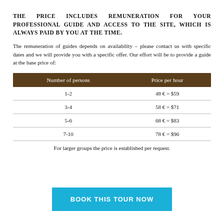THE PRICE INCLUDES REMUNERATION FOR YOUR PROFESSIONAL GUIDE AND ACCESS TO THE SITE, WHICH IS ALWAYS PAID BY YOU AT THE TIME.
The remuneration of guides depends on availability – please contact us with specific dates and we will provide you with a specific offer. Our effort will be to provide a guide at the base price of:
| Number of persons | Price per hour |
| --- | --- |
| 1-2 | 48 € = $59 |
| 3-4 | 58 € = $71 |
| 5-6 | 68 € = $83 |
| 7-10 | 78 € = $96 |
For larger groups the price is established per request.
BOOK THIS TOUR NOW